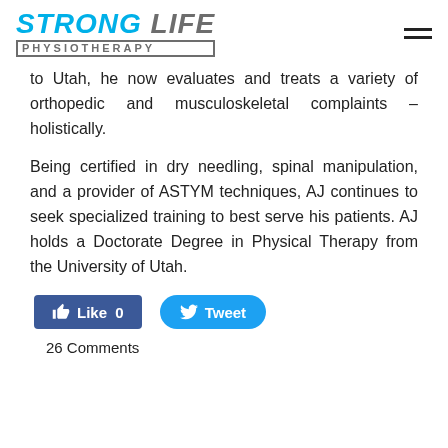STRONG LIFE PHYSIOTHERAPY
to Utah, he now evaluates and treats a variety of orthopedic and musculoskeletal complaints – holistically.
Being certified in dry needling, spinal manipulation, and a provider of ASTYM techniques, AJ continues to seek specialized training to best serve his patients. AJ holds a Doctorate Degree in Physical Therapy from the University of Utah.
[Figure (other): Facebook Like button (0 likes) and Twitter Tweet button]
26 Comments